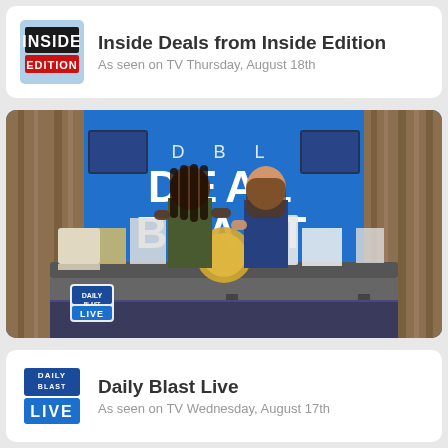[Figure (logo): Inside Edition logo — white INSIDE text on black rectangle, red EDITION text on red rectangle, on light blue square background]
Inside Deals from Inside Edition
As seen on TV Thursday, August 18th
[Figure (photo): TV show screenshot: two women standing behind a display table with various products. Blue background with 'DBL DEAL BLAST' text. Daily Blast Live logo in lower left corner.]
[Figure (logo): Daily Blast Live logo — DBL text on blue, LIVE text on blue box]
Daily Blast Live
As seen on TV Wednesday, August 17th